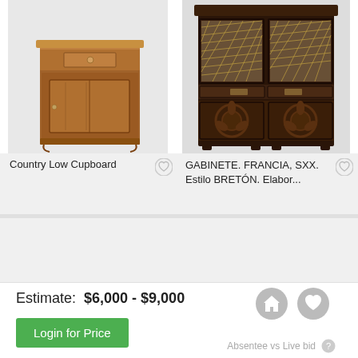[Figure (photo): Photo of a Country Low Cupboard — a wooden antique cabinet with one drawer on top and one door below, brown wood, on curved feet]
[Figure (photo): Photo of a GABINETE from France, SXX, Estilo Bretón — a dark ornate wooden cabinet with latticed glass doors on top and carved panels below]
Country Low Cupboard
GABINETE. FRANCIA, SXX. Estilo BRETÓN. Elabor...
Estimate:  $6,000 - $9,000
Login for Price
Absentee vs Live bid ?